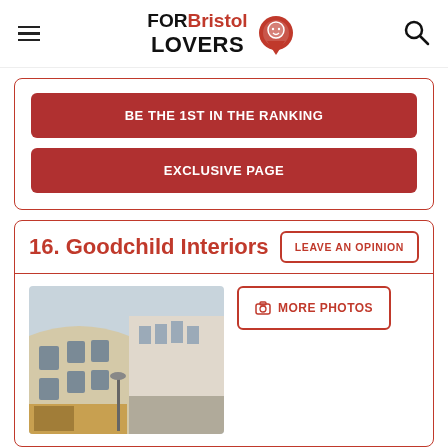FOR Bristol LOVERS
BE THE 1ST IN THE RANKING
EXCLUSIVE PAGE
16. Goodchild Interiors
LEAVE AN OPINION
[Figure (photo): Street view photo of a curved stone building corner in Bristol, with shop fronts and street visible]
MORE PHOTOS